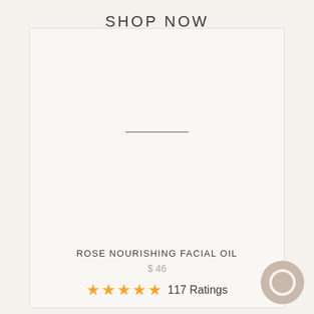SHOP NOW
[Figure (photo): Product card with a large empty/white product image area for Rose Nourishing Facial Oil, with a short horizontal divider line in the center of the image area]
ROSE NOURISHING FACIAL OIL
$ 46
★★★★★ 117 Ratings